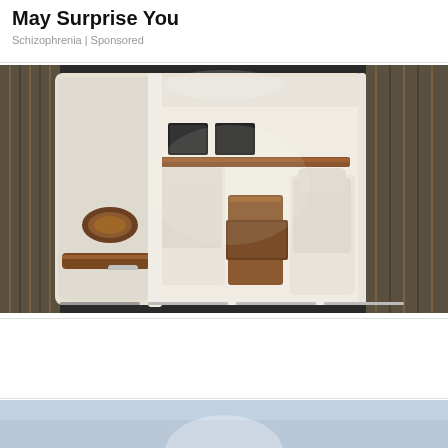May Surprise You
Schizophrenia | Sponsored
[Figure (photo): Luxury car interior showing cream/white leather seats, wooden trim accents, an open rear door revealing a spacious passenger compartment with headrests, fold-down table, and multiple screens; exterior is dark/charcoal; curtains visible on left side.]
[Figure (photo): Partial view of another image at bottom of page with light blue/grey background, beginning of another advertisement.]